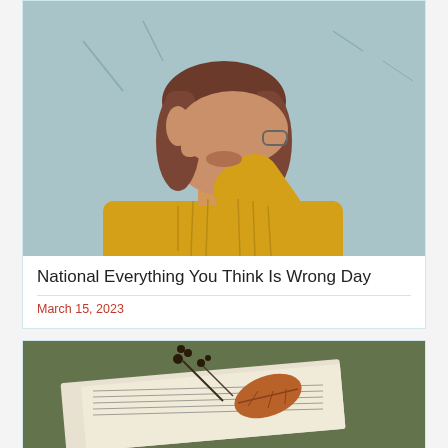[Figure (photo): Woman in yellow sweater covering her face with her hand against a light teal/blue textured wall background]
National Everything You Think Is Wrong Day
March 15, 2023
[Figure (photo): Close-up of an open book or sheet music with dried flowers and a leaf on top, blurred outdoor background]